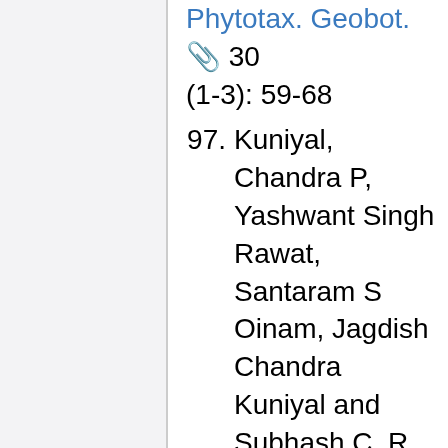Phytotax. Geobot. 30 (1-3): 59-68
97. Kuniyal, Chandra P, Yashwant Singh Rawat, Santaram S Oinam, Jagdish Chandra Kuniyal and Subhash C. R. Vishvakarma 2005 Kuth (Saussurea lappa) cultivation in the cold desert environment of the Lahaul valley, northwestern Himalaya, India: Arising threats and